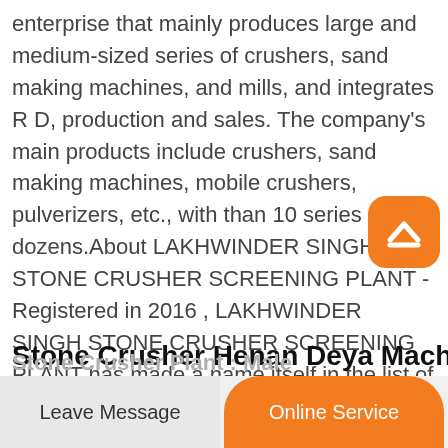enterprise that mainly produces large and medium-sized series of crushers, sand making machines, and mills, and integrates R D, production and sales. The company's main products include crushers, sand making machines, mobile crushers, pulverizers, etc., with than 10 series and dozens.About LAKHWINDER SINGH STONE CRUSHER SCREENING PLANT - Registered in 2016 , LAKHWINDER SINGH STONE CRUSHER SCREENING PLANT has made a name itself in the list of top suppliers of in India. The supplier company is located in Una, Gujarat and is one of the leading sellers of listed products.
[Figure (logo): Orange rounded square badge with a white upward-pointing chevron/arrow symbol]
Stone Crusher Henan Deya Machinery Co
Stone Crusher Plant : Male